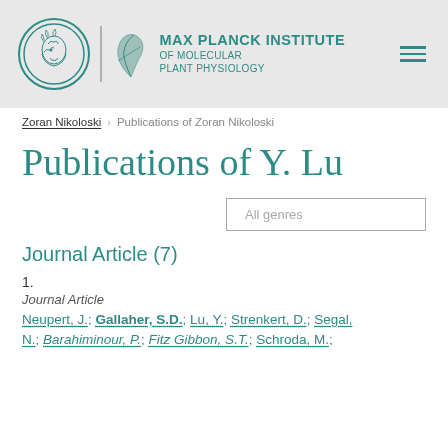MAX PLANCK INSTITUTE OF MOLECULAR PLANT PHYSIOLOGY
Zoran Nikoloski > Publications of Zoran Nikoloski
Publications of Y. Lu
All genres
Journal Article (7)
1.
Journal Article
Neupert, J.; Gallaher, S.D.; Lu, Y.; Strenkert, D.; Segal, N.; Barahiminour, P.; Fitz Gibbon, S.T.; Schroda, M.;